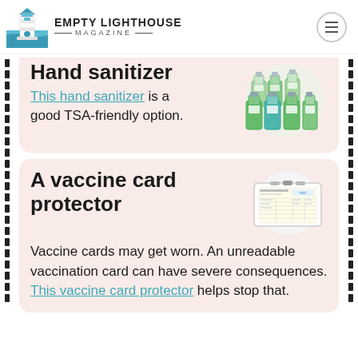EMPTY LIGHTHOUSE MAGAZINE
Hand sanitizer
This hand sanitizer is a good TSA-friendly option.
[Figure (photo): Multiple small travel-size hand sanitizer bottles arranged together]
A vaccine card protector
Vaccine cards may get worn. An unreadable vaccination card can have severe consequences. This vaccine card protector helps stop that.
[Figure (photo): A vaccine card inside a clear plastic card protector/holder]